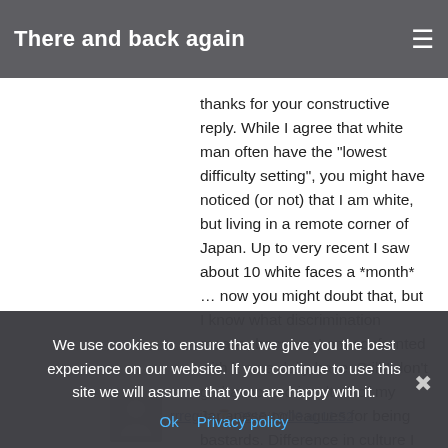There and back again
thanks for your constructive reply. While I agree that white man often have the "lowest difficulty setting", you might have noticed (or not) that I am white, but living in a remote corner of Japan. Up to very recent I saw about 10 white faces a *month* … now you might doubt that, but I know what discrimination means, because I am confronted with it on a daily base. Still I don't go havoc and insult all of my Japanese colleagues for being bastards. Difference in culture I guess.
Reply
rrregis  2015/10/09 at 11:52
I bet the word you hate, "microaggressions" is a more apt ...
imagine if the police were constantly harassing you, or randomly frisking you, you would have left Japan by now.
Reply
We use cookies to ensure that we give you the best experience on our website. If you continue to use this site we will assume that you are happy with it.
Ok   Privacy policy